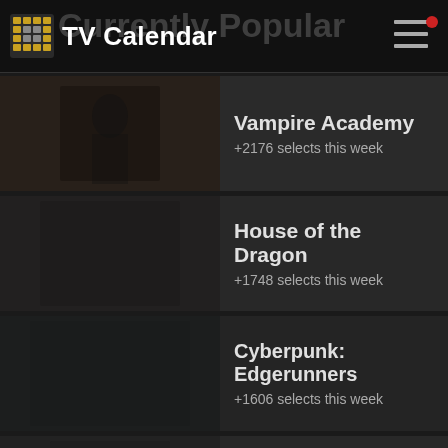TV Calendar
Vampire Academy
+2176 selects this week
House of the Dragon
+1748 selects this week
Cyberpunk: Edgerunners
+1606 selects this week
American Gigolo
+1420 selects this week
Devil in Ohio
+1271 selects this week